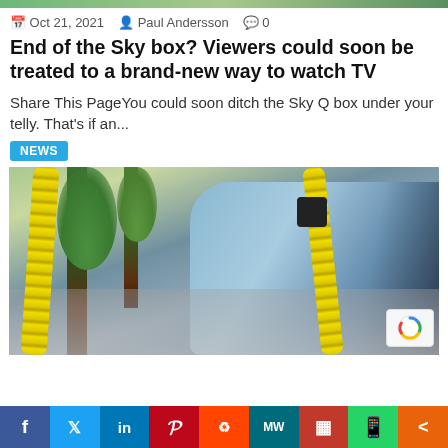[Figure (photo): Partial top image, green/outdoor scene]
Oct 21, 2021  Paul Andersson  0
End of the Sky box? Viewers could soon be treated to a brand-new way to watch TV
Share This PageYou could soon ditch the Sky Q box under your telly. That's if an...
NEWS
[Figure (photo): Electric vehicle being charged with a bright yellow coiled cable, street scene with trees in background]
f  Twitter  in  Pinterest  Reddit  MW  Mix  WhatsApp  Share